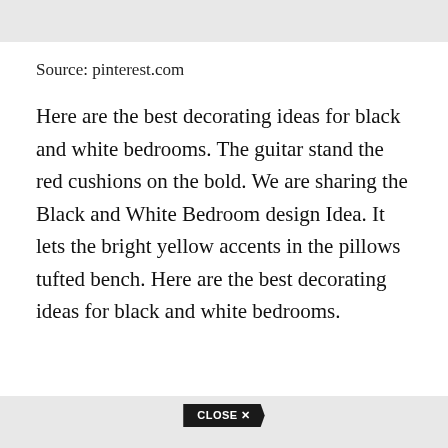Source: pinterest.com
Here are the best decorating ideas for black and white bedrooms. The guitar stand the red cushions on the bold. We are sharing the Black and White Bedroom design Idea. It lets the bright yellow accents in the pillows tufted bench. Here are the best decorating ideas for black and white bedrooms.
CLOSE ✕